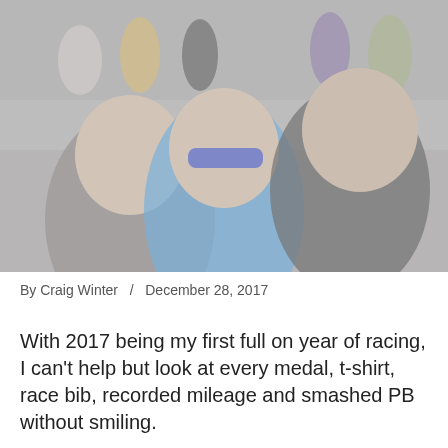[Figure (photo): Three people smiling at the camera at an outdoor running race event. Many runners visible in the background on a street.]
By Craig Winter   /   December 28, 2017
With 2017 being my first full on year of racing, I can't help but look at every medal, t-shirt, race bib, recorded mileage and smashed PB without smiling.